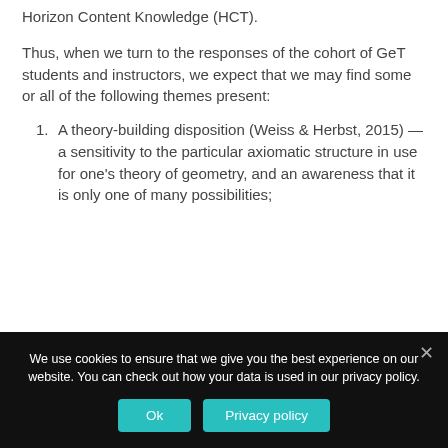Horizon Content Knowledge (HCT).
Thus, when we turn to the responses of the cohort of GeT students and instructors, we expect that we may find some or all of the following themes present:
A theory-building disposition (Weiss & Herbst, 2015) —a sensitivity to the particular axiomatic structure in use for one's theory of geometry, and an awareness that it is only one of many possibilities;
We use cookies to ensure that we give you the best experience on our website. You can check out how your data is used in our privacy policy.